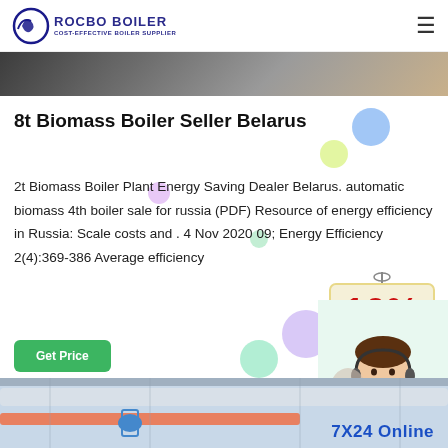ROCBO BOILER - COST-EFFECTIVE BOILER SUPPLIER
[Figure (photo): Top image strip showing industrial/interior scene]
8t Biomass Boiler Seller Belarus
2t Biomass Boiler Plant Energy Saving Dealer Belarus. automatic biomass 4th boiler sale for russia (PDF) Resource of energy efficiency in Russia: Scale costs and . 4 Nov 2020 09; Energy Efficiency 2(4):369-386 Average efficiency
[Figure (infographic): 10% DISCOUNT promotional badge/stamp in red and yellow]
[Figure (photo): Customer service representative wearing headset, smiling]
[Figure (photo): Industrial pipes and equipment at bottom of page]
7X24 Online